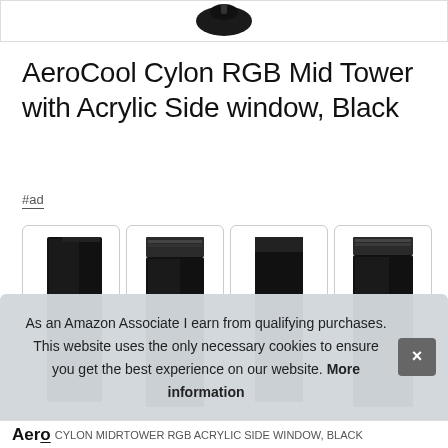[Figure (photo): Partial product image at top — dark colored mouse or accessory partially visible]
AeroCool Cylon RGB Mid Tower with Acrylic Side window, Black
#ad
[Figure (photo): Four thumbnail images of AeroCool Cylon RGB Mid Tower PC case from different angles, showing RGB lighting strip]
As an Amazon Associate I earn from qualifying purchases. This website uses the only necessary cookies to ensure you get the best experience on our website. More information
Aerc...